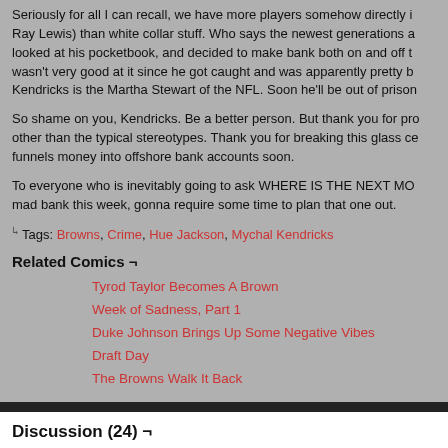Seriously for all I can recall, we have more players somehow directly i... Ray Lewis) than white collar stuff. Who says the newest generations a... looked at his pocketbook, and decided to make bank both on and off t... wasn't very good at it since he got caught and was apparently pretty b... Kendricks is the Martha Stewart of the NFL. Soon he'll be out of prison
So shame on you, Kendricks. Be a better person. But thank you for pr... other than the typical stereotypes. Thank you for breaking this glass ce... funnels money into offshore bank accounts soon.
To everyone who is inevitably going to ask WHERE IS THE NEXT MO... mad bank this week, gonna require some time to plan that one out.
↳ Tags: Browns, Crime, Hue Jackson, Mychal Kendricks
Related Comics ¬
Tyrod Taylor Becomes A Brown
Week of Sadness, Part 1
Duke Johnson Brings Up Some Negative Vibes
Draft Day
The Browns Walk It Back
Discussion (24) ¬
Dugout